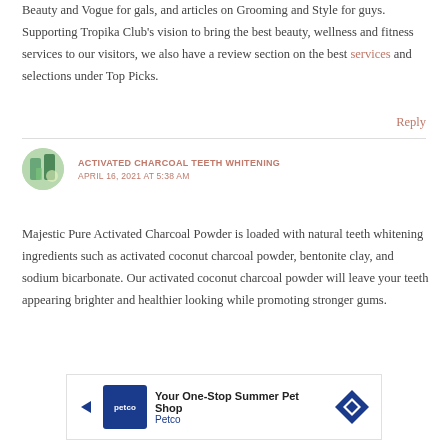Beauty and Vogue for gals, and articles on Grooming and Style for guys. Supporting Tropika Club's vision to bring the best beauty, wellness and fitness services to our visitors, we also have a review section on the best services and selections under Top Picks.
Reply
ACTIVATED CHARCOAL TEETH WHITENING
APRIL 16, 2021 AT 5:38 AM
Majestic Pure Activated Charcoal Powder is loaded with natural teeth whitening ingredients such as activated coconut charcoal powder, bentonite clay, and sodium bicarbonate. Our activated coconut charcoal powder will leave your teeth appearing brighter and healthier looking while promoting stronger gums.
[Figure (other): Petco advertisement banner: 'Your One-Stop Summer Pet Shop' with Petco logo and navigation arrow icon]